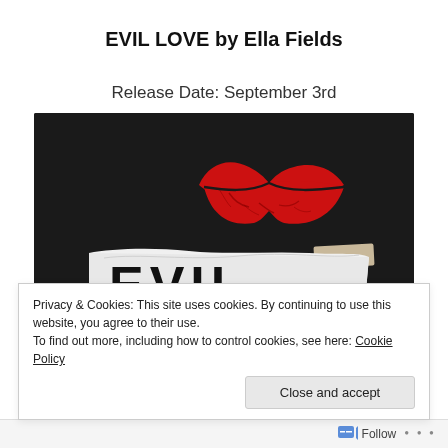EVIL LOVE by Ella Fields
Release Date: September 3rd
[Figure (photo): Book cover image for EVIL LOVE on a dark background showing red lips kiss mark and a white paper banner with black text reading 'EVIL' taped to a dark surface]
Privacy & Cookies: This site uses cookies. By continuing to use this website, you agree to their use.
To find out more, including how to control cookies, see here: Cookie Policy
Close and accept
Follow